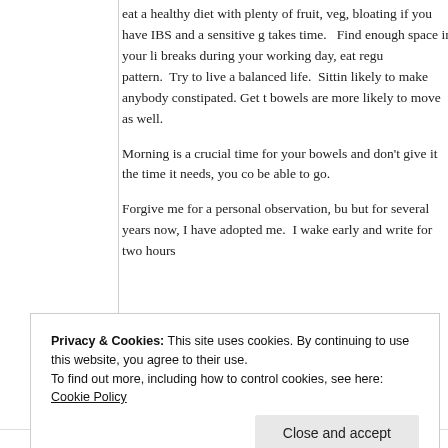eat a healthy diet with plenty of fruit, veg... bloating if you have IBS and a sensitive g... takes time.   Find enough space in your li... breaks during your working day, eat regu... pattern.  Try to live a balanced life.  Sittin... likely to make anybody constipated. Get t... bowels are more likely to move as well.
Morning is a crucial time for your bowels... and don't give it the time it needs, you co... be able to go.
Forgive me for a personal observation, bu... but for several years now, I have adopted... me.  I wake early and write for two hours...
Privacy & Cookies: This site uses cookies. By continuing to use this website, you agree to their use. To find out more, including how to control cookies, see here: Cookie Policy